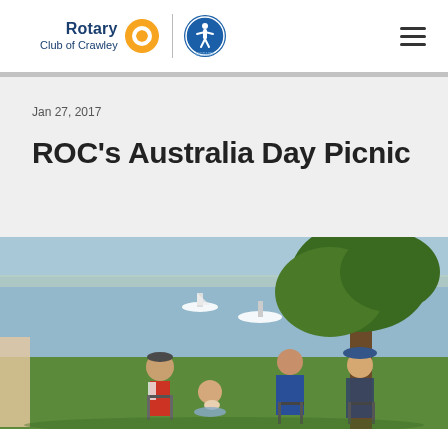Rotary Club of Crawley
Jan 27, 2017
ROC's Australia Day Picnic
[Figure (photo): Outdoor picnic scene near a waterfront with people sitting in camp chairs under a tree, boats visible in the water in the background. Several people including women with hats enjoying a sunny day outdoors.]